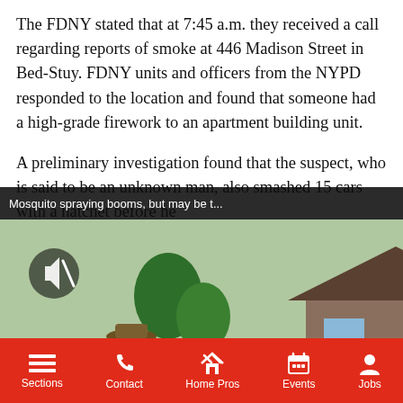The FDNY stated that at 7:45 a.m. they received a call regarding reports of smoke at 446 Madison Street in Bed-Stuy. FDNY units and officers from the NYPD responded to the location and found that someone had a high-grade firework to an apartment building unit.
A preliminary investigation found that the suspect, who is said to be an unknown man, also smashed 15 cars with a hatchet before he [text obscured by popup]. The suspect also is said [text obscured] scene on a green dirt [text obscured]
[Figure (screenshot): Floating video popup overlay showing title bar 'Mosquito spraying booms, but may be t...' with close X button, and video thumbnail of a person wearing green jacket and backpack sprayer equipment standing near a house with green lawn. Mute icon visible in top-left of video.]
omise!
Sections  Contact  Home Pros  Events  Jobs